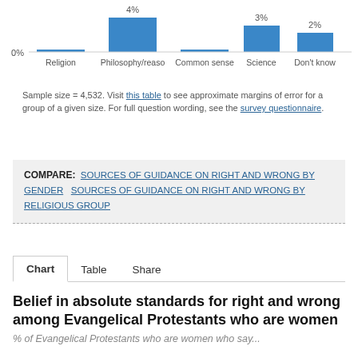[Figure (bar-chart): Sources of guidance on right and wrong]
Sample size = 4,532. Visit this table to see approximate margins of error for a group of a given size. For full question wording, see the survey questionnaire.
COMPARE:  SOURCES OF GUIDANCE ON RIGHT AND WRONG BY GENDER    SOURCES OF GUIDANCE ON RIGHT AND WRONG BY RELIGIOUS GROUP
Chart   Table   Share
Belief in absolute standards for right and wrong among Evangelical Protestants who are women
% of Evangelical Protestants who are women who say...